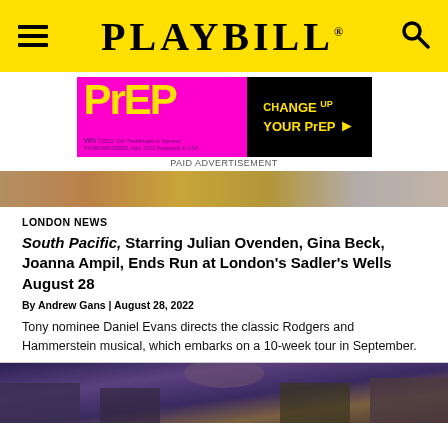PLAYBILL
[Figure (photo): PrEP advertisement banner - pink/magenta background with yellow PrEP logo on left and black section reading CHANGE UP YOUR PrEP with arrow on right. ViiV logo and disclaimer text at bottom left.]
PAID ADVERTISEMENT
[Figure (photo): Partial photo strip showing colorful costumes/flowers from South Pacific production]
LONDON NEWS
South Pacific, Starring Julian Ovenden, Gina Beck, Joanna Ampil, Ends Run at London's Sadler's Wells August 28
By Andrew Gans | August 28, 2022
Tony nominee Daniel Evans directs the classic Rodgers and Hammerstein musical, which embarks on a 10-week tour in September.
[Figure (photo): Bottom portion of photo showing South Pacific cast members in period costumes on stage]